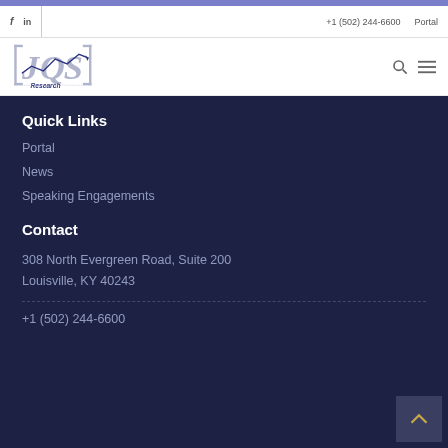f  in  +1 (502) 244-6600  Portal
[Figure (logo): JQS Research logo with stylized letters and a line chart graphic]
Quick Links
Portal
News
Speaking Engagements
Contact
308 North Evergreen Road, Suite 200
Louisville, KY 40243
+1 (502) 244-6600